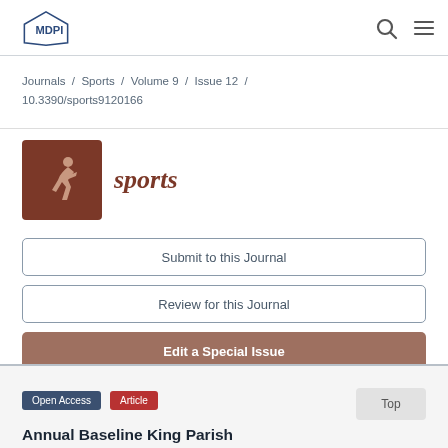MDPI
Journals / Sports / Volume 9 / Issue 12 / 10.3390/sports9120166
[Figure (logo): Sports journal logo: brown square with running figure icon and italic 'sports' text in brown]
Submit to this Journal
Review for this Journal
Edit a Special Issue
► Article Menu
Open Access  Article
Annual Baseline King Parish...